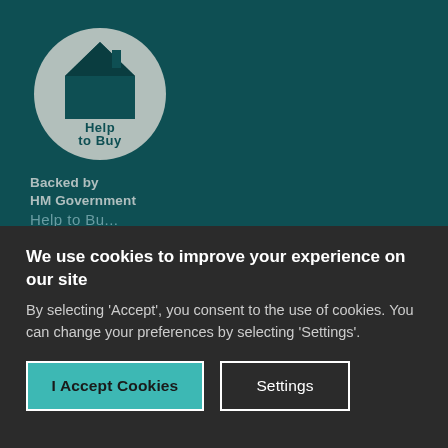[Figure (logo): Help to Buy logo: circular badge with grey background, dark teal house icon and 'Help to Buy' text inside. Below the circle: 'Backed by HM Government' in grey text. Set against a dark teal background.]
We use cookies to improve your experience on our site
By selecting 'Accept', you consent to the use of cookies. You can change your preferences by selecting 'Settings'.
I Accept Cookies
Settings